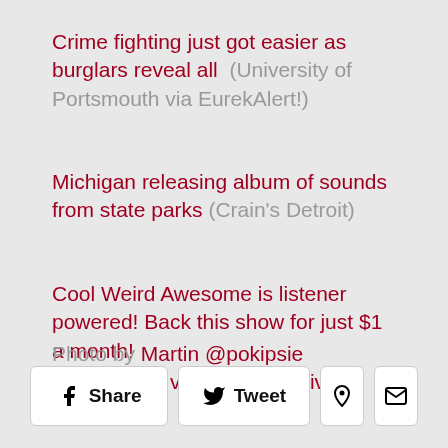Crime fighting just got easier as burglars reveal all (University of Portsmouth via EurekAlert!)
Michigan releasing album of sounds from state parks (Crain's Detroit)
Cool Weird Awesome is listener powered! Back this show for just $1 a month!
Photo by Martin @pokipsie Rechsteiner via Flickr/Creative Commons
[Figure (other): Social sharing buttons: Facebook Share, Tweet, Pinterest, Email]